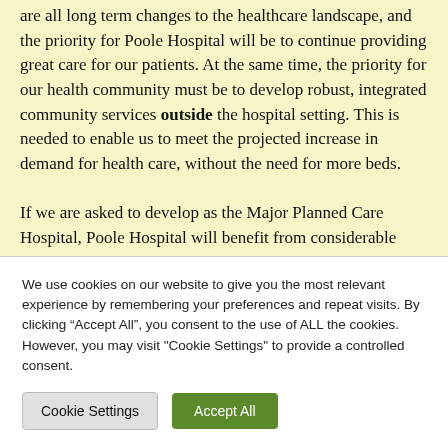are all long term changes to the healthcare landscape, and the priority for Poole Hospital will be to continue providing great care for our patients. At the same time, the priority for our health community must be to develop robust, integrated community services outside the hospital setting. This is needed to enable us to meet the projected increase in demand for health care, without the need for more beds.

If we are asked to develop as the Major Planned Care Hospital, Poole Hospital will benefit from considerable
We use cookies on our website to give you the most relevant experience by remembering your preferences and repeat visits. By clicking “Accept All”, you consent to the use of ALL the cookies. However, you may visit "Cookie Settings" to provide a controlled consent.